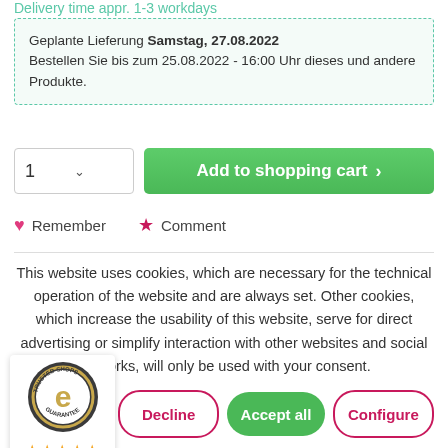Delivery time appr. 1-3 workdays
Geplante Lieferung Samstag, 27.08.2022
Bestellen Sie bis zum 25.08.2022 - 16:00 Uhr dieses und andere Produkte.
1  ∨   Add to shopping cart  >
♥ Remember   ★ Comment
This website uses cookies, which are necessary for the technical operation of the website and are always set. Other cookies, which increase the usability of this website, serve for direct advertising or simplify interaction with other websites and social networks, will only be used with your consent.
[Figure (logo): Trusted Shops guarantee badge with gold 'e' logo, 5 stars, score 4,91]
Decline   Accept all   Configure